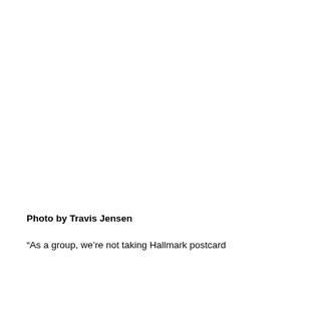Photo by Travis Jensen
“As a group, we’re not taking Hallmark postcard